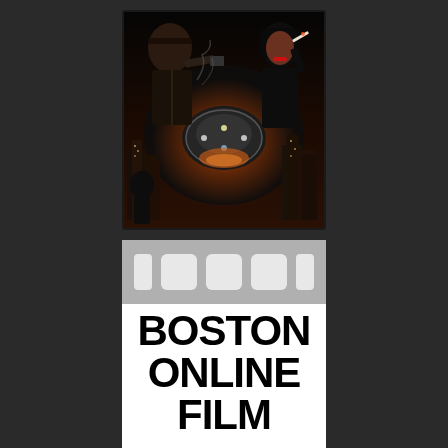[Figure (illustration): Movie poster showing sci-fi/noir imagery with a man holding a gun on the left, a woman in black holding a cigarette on the right, and a large dark spacecraft in the center against a fiery orange background with city skyline — appears to be Blade Runner movie poster]
[Figure (logo): Boston Online Film logo: film strip with sprocket holes at top in gray, white area below with bold black text reading BOSTON ONLINE FILM in large sans-serif font]